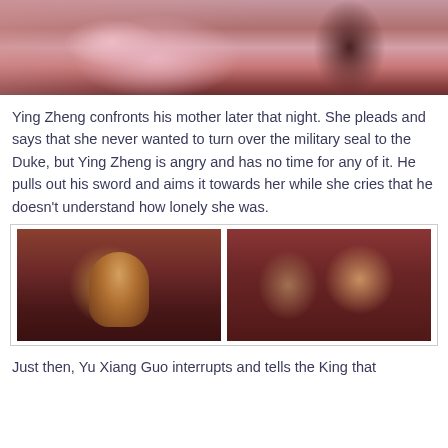[Figure (photo): Scene from a historical Chinese drama showing a woman in pink robes prostrated on steps, with another figure in dark ornate robes standing nearby.]
Ying Zheng confronts his mother later that night. She pleads and says that she never wanted to turn over the military seal to the Duke, but Ying Zheng is angry and has no time for any of it. He pulls out his sword and aims it towards her while she cries that he doesn’t understand how lonely she was.
[Figure (photo): Two side-by-side images from a historical Chinese drama. Left: a young man in traditional royal attire with ornate headdress holding a sword. Right: a man and woman in red traditional Chinese robes facing each other.]
Just then, Yu Xiang Guo interrupts and tells the King that